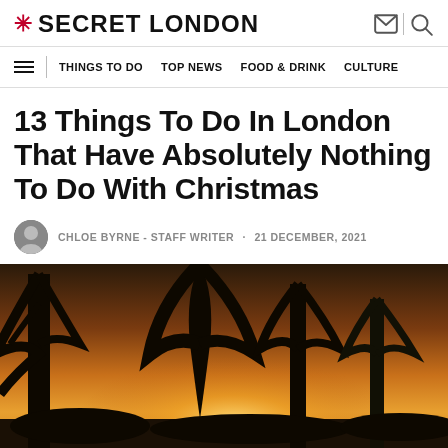* SECRET LONDON
THINGS TO DO   TOP NEWS   FOOD & DRINK   CULTURE
13 Things To Do In London That Have Absolutely Nothing To Do With Christmas
CHLOE BYRNE - STAFF WRITER · 21 DECEMBER, 2021
[Figure (photo): Silhouette of tall trees at sunset in a London park, with warm orange and golden sky visible through the branches]